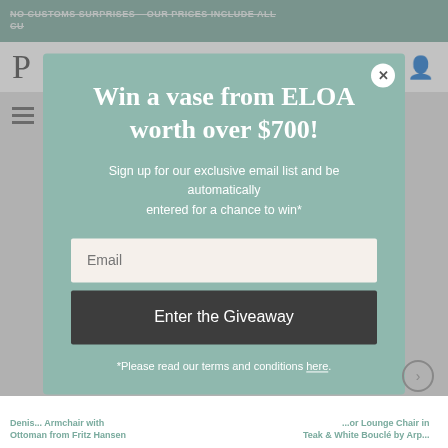NO CUSTOMS SURPRISES – OUR PRICES INCLUDE ALL CU...
P
[Figure (screenshot): Modal popup with teal/sage green background overlaid on a website. Contains a giveaway promotion.]
Win a vase from ELOA worth over $700!
Sign up for our exclusive email list and be automatically entered for a chance to win*
Email
Enter the Giveaway
*Please read our terms and conditions here
Denis... Armchair with Ottoman from Fritz Hansen
...or Lounge Chair in Teak & White Bouclé by Arp...